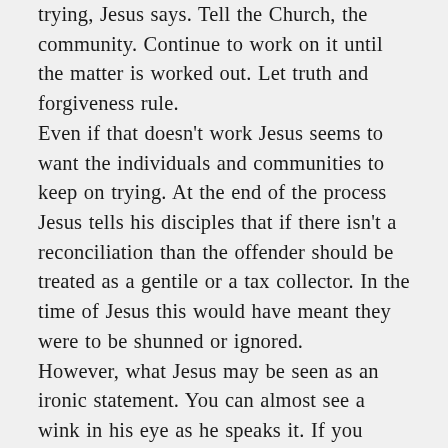trying, Jesus says. Tell the Church, the community. Continue to work on it until the matter is worked out. Let truth and forgiveness rule.
Even if that doesn't work Jesus seems to want the individuals and communities to keep on trying. At the end of the process Jesus tells his disciples that if there isn't a reconciliation than the offender should be treated as a gentile or a tax collector. In the time of Jesus this would have meant they were to be shunned or ignored.
However, what Jesus may be seen as an ironic statement. You can almost see a wink in his eye as he speaks it. If you remember, one of the things the Scribes and Pharisees held against Jesus was that he called with for it was a duty on the